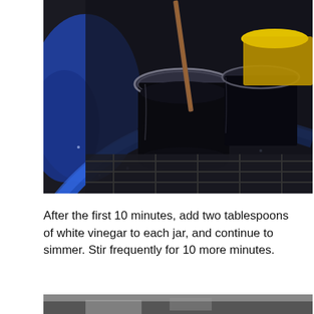[Figure (photo): Close-up photo of glass jars with dark liquid being stirred with a wooden stick, on a blue speckled stovetop/surface. A yellow liquid is visible in a jar in the background. Blue tubing/hose visible in the foreground.]
After the first 10 minutes, add two tablespoons of white vinegar to each jar, and continue to simmer. Stir frequently for 10 more minutes.
[Figure (photo): Partial view of another photo at the bottom of the page, showing a similar kitchen/stovetop scene.]